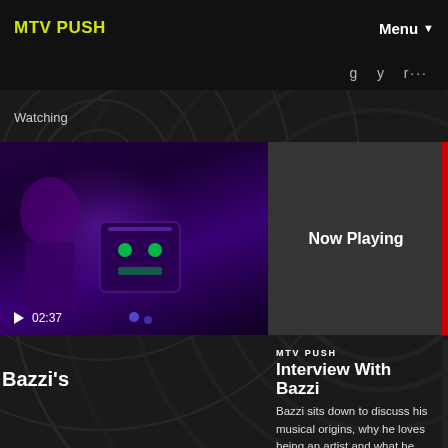MTV PUSH
Menu
Watching
[Figure (screenshot): Video thumbnail showing a person and a purple robot figure against a dark purple background]
▶ 02:37
[Figure (other): Now Playing overlay panel in dark gray]
MTV PUSH
Interview With Bazzi
Bazzi sits down to discuss his musical origins, why he loves being an artist and what he hopes his fans connect to
Bazzi's